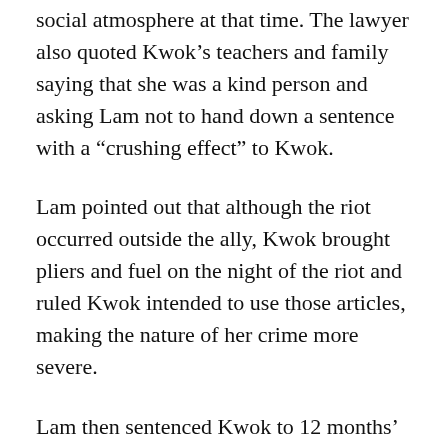social atmosphere at that time. The lawyer also quoted Kwok’s teachers and family saying that she was a kind person and asking Lam not to hand down a sentence with a “crushing effect” to Kwok.
Lam pointed out that although the riot occurred outside the ally, Kwok brought pliers and fuel on the night of the riot and ruled Kwok intended to use those articles, making the nature of her crime more severe.
Lam then sentenced Kwok to 12 months’ imprisonment over the pliers and 20 months over the lighter fuel. The two sentences will run concurrently, and the jail term was reduced to